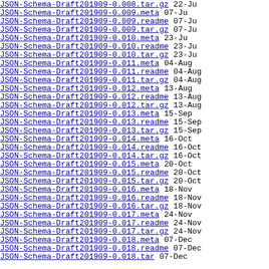JSON-Schema-Draft201909-0.008.tar.gz  22-Ju
JSON-Schema-Draft201909-0.009.meta  07-Ju
JSON-Schema-Draft201909-0.009.readme  07-Ju
JSON-Schema-Draft201909-0.009.tar.gz  07-Ju
JSON-Schema-Draft201909-0.010.meta  23-Ju
JSON-Schema-Draft201909-0.010.readme  23-Ju
JSON-Schema-Draft201909-0.010.tar.gz  23-Ju
JSON-Schema-Draft201909-0.011.meta  04-Aug
JSON-Schema-Draft201909-0.011.readme  04-Aug
JSON-Schema-Draft201909-0.011.tar.gz  04-Aug
JSON-Schema-Draft201909-0.012.meta  13-Aug
JSON-Schema-Draft201909-0.012.readme  13-Aug
JSON-Schema-Draft201909-0.012.tar.gz  13-Aug
JSON-Schema-Draft201909-0.013.meta  15-Sep
JSON-Schema-Draft201909-0.013.readme  15-Sep
JSON-Schema-Draft201909-0.013.tar.gz  15-Sep
JSON-Schema-Draft201909-0.014.meta  16-Oct
JSON-Schema-Draft201909-0.014.readme  16-Oct
JSON-Schema-Draft201909-0.014.tar.gz  16-Oct
JSON-Schema-Draft201909-0.015.meta  20-Oct
JSON-Schema-Draft201909-0.015.readme  20-Oct
JSON-Schema-Draft201909-0.015.tar.gz  20-Oct
JSON-Schema-Draft201909-0.016.meta  18-Nov
JSON-Schema-Draft201909-0.016.readme  18-Nov
JSON-Schema-Draft201909-0.016.tar.gz  18-Nov
JSON-Schema-Draft201909-0.017.meta  24-Nov
JSON-Schema-Draft201909-0.017.readme  24-Nov
JSON-Schema-Draft201909-0.017.tar.gz  24-Nov
JSON-Schema-Draft201909-0.018.meta  07-Dec
JSON-Schema-Draft201909-0.018.readme  07-Dec
JSON-Schema-Draft201909-0.018.tar  07-Dec